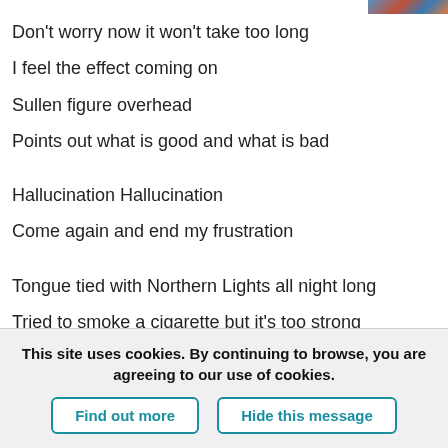[Figure (photo): Partial image visible in top-right corner]
Don't worry now it won't take too long
I feel the effect coming on
Sullen figure overhead
Points out what is good and what is bad
Hallucination Hallucination
Come again and end my frustration
Tongue tied with Northern Lights all night long
Tried to smoke a cigarette but it's too strong
Voices in my ear tell me it's alright
The impossible...
This site uses cookies. By continuing to browse, you are agreeing to our use of cookies.
Find out more
Hide this message